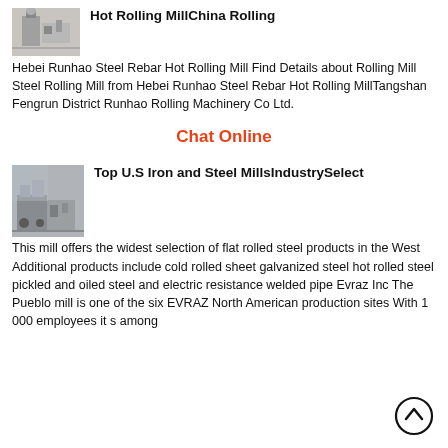Hot Rolling MillChina Rolling
Hebei Runhao Steel Rebar Hot Rolling Mill Find Details about Rolling Mill Steel Rolling Mill from Hebei Runhao Steel Rebar Hot Rolling MillTangshan Fengrun District Runhao Rolling Machinery Co Ltd.
Chat Online
Top U.S Iron and Steel MillsIndustrySelect
This mill offers the widest selection of flat rolled steel products in the West Additional products include cold rolled sheet galvanized steel hot rolled steel pickled and oiled steel and electric resistance welded pipe Evraz Inc The Pueblo mill is one of the six EVRAZ North American production sites With 1 000 employees it s among
[Figure (illustration): Back to top circular arrow button icon]